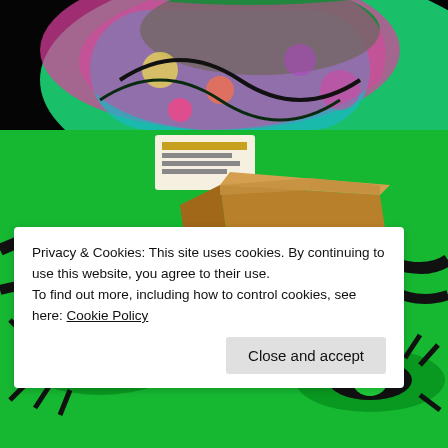[Figure (photo): Top photo showing colorful psychedelic fabric/clothing with bright pink, teal, green, and floral patterns on a black background]
[Figure (photo): Photo showing an open cardboard box containing spray paint cans (visible nozzle tops) sitting on a green graffiti-decorated surface with painted eyes and black swirl designs]
Privacy & Cookies: This site uses cookies. By continuing to use this website, you agree to their use.
To find out more, including how to control cookies, see here: Cookie Policy
Close and accept